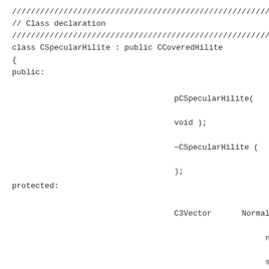// Class declaration
class CSpecularHilite : public CCoveredHilite
{
public:
    pCSpecularHilite(
    void );
    ~CSpecularHilite (
    );
protected:
    C3Vector    Normal;  // Unit normal surface
    C3Vector    Bisector; // Unit bisect Source Candi // and Candi Recei